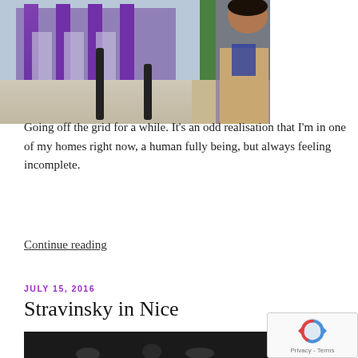[Figure (photo): Street scene photo showing purple-columned building exterior and a person in the foreground, partially cropped]
Going off the grid for a while. It’s an odd realisation that I’m in one of my homes right now, a human fully being, but always feeling incomplete.
Continue reading
JULY 15, 2016
Stravinsky in Nice
[Figure (photo): Dark photograph, partially visible at bottom of page]